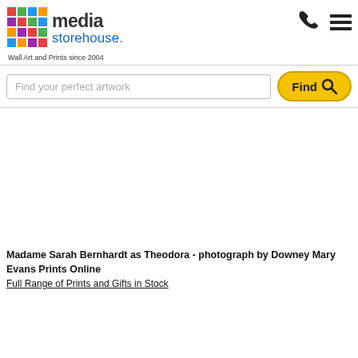[Figure (logo): Media Storehouse logo with colorful grid icon and blue/black text]
Wall Art and Prints since 2004
[Figure (screenshot): Search bar with placeholder 'Find your perfect artwork' and yellow Find button with magnifier icon]
[Figure (photo): Large blank/white area representing a product image placeholder]
Madame Sarah Bernhardt as Theodora - photograph by Downey Mary Evans Prints Online
Full Range of Prints and Gifts in Stock